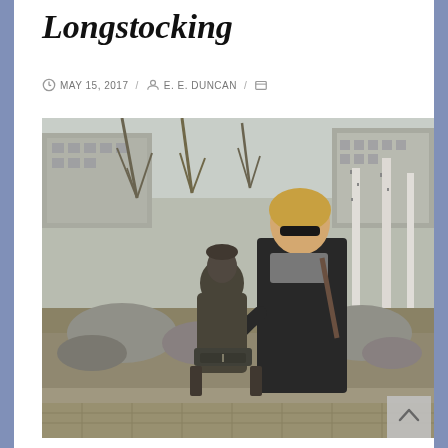Longstocking
MAY 15, 2017 / E. E. DUNCAN / UNCATEGORIZED / NO COMMENTS
[Figure (photo): A woman with blonde hair and sunglasses stands behind a bronze statue of a seated figure reading a book, in an outdoor park setting with bare trees and buildings in the background.]